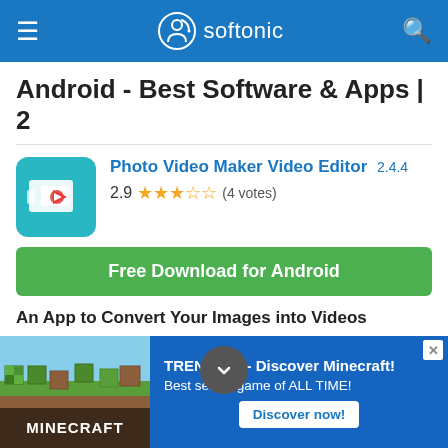softonic
Android - Best Software & Apps | 2
Photo Video Maker Video Editor 2.4.4 — 2.9 ★★★☆☆ (4 votes)
Free Download for Android
An App to Convert Your Images into Videos
Photo Video Maker is a video editing tool that lets you make videos out of your images by adding music. You can download images for the video or use pictures...
Android | app editor | images for a… | images to video | photo editor
[Figure (screenshot): Advertisement banner for Minecraft: 'TRENDING - Discover Minecraft! Best selling game of ALL TIME!' with a Discover now! button]